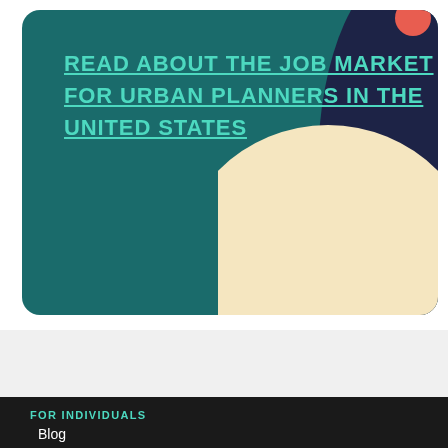[Figure (illustration): Teal/dark green card with decorative geometric shapes (cream circle, dark navy arc, coral/red element) in upper right corner]
READ ABOUT THE JOB MARKET FOR URBAN PLANNERS IN THE UNITED STATES
FOR INDIVIDUALS
Blog